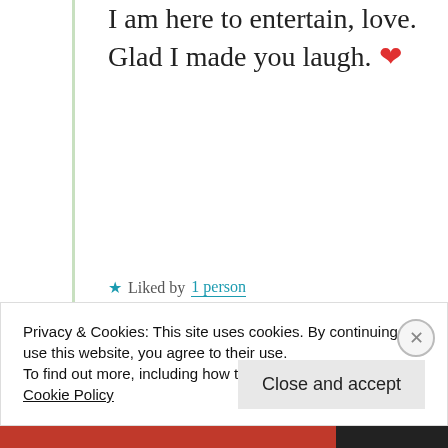I am here to entertain, love. Glad I made you laugh. ❤
★ Liked by 1 person
jmshistorycorner
February 14, 2019 at 5:55 am
Privacy & Cookies: This site uses cookies. By continuing to use this website, you agree to their use.
To find out more, including how to control cookies, see here: Cookie Policy